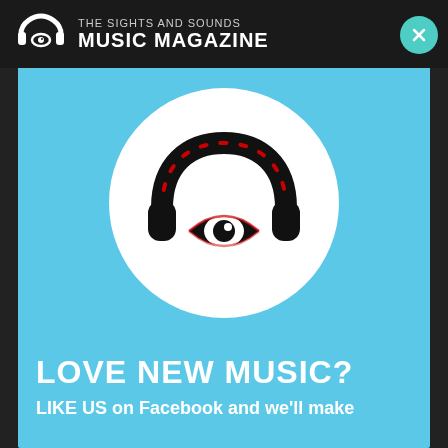THE SIGHTS AND SOUNDS MUSIC MAGAZINE
[Figure (logo): The Sights and Sounds Music Magazine logo: headphones with an eye icon]
[Figure (logo): Large circular white badge with headphones-and-eye logo on light blue background modal popup]
LOVE NEW MUSIC?
LIKE US on Facebook and we'll make